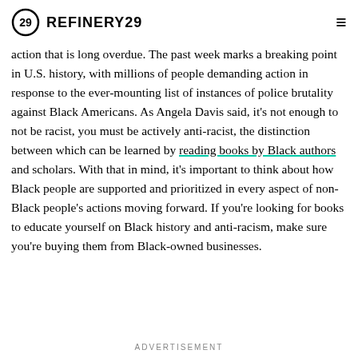REFINERY29
action that is long overdue. The past week marks a breaking point in U.S. history, with millions of people demanding action in response to the ever-mounting list of instances of police brutality against Black Americans. As Angela Davis said, it's not enough to not be racist, you must be actively anti-racist, the distinction between which can be learned by reading books by Black authors and scholars. With that in mind, it's important to think about how Black people are supported and prioritized in every aspect of non-Black people's actions moving forward. If you're looking for books to educate yourself on Black history and anti-racism, make sure you're buying them from Black-owned businesses.
ADVERTISEMENT